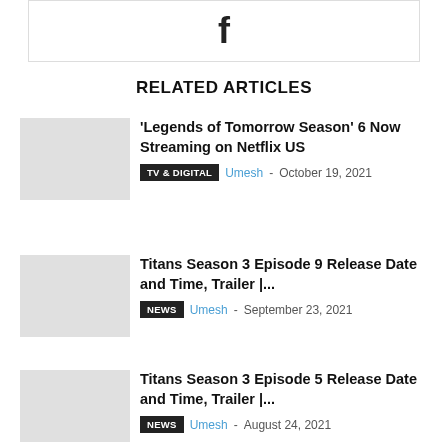[Figure (logo): Facebook icon (f) inside a bordered box]
RELATED ARTICLES
'Legends of Tomorrow Season' 6 Now Streaming on Netflix US
TV & DIGITAL  Umesh - October 19, 2021
Titans Season 3 Episode 9 Release Date and Time, Trailer |...
NEWS  Umesh - September 23, 2021
Titans Season 3 Episode 5 Release Date and Time, Trailer |...
NEWS  Umesh - August 24, 2021